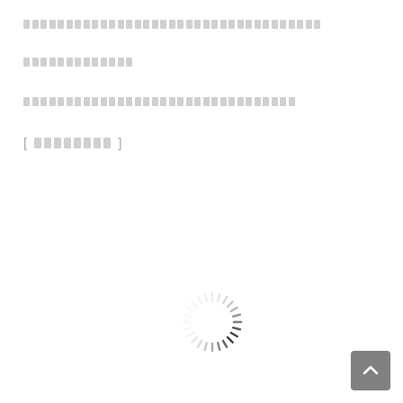[redacted text line 1]
[redacted text line 2]
[redacted text line 3]
[  redacted  ]
[Figure (other): Loading spinner (circular dashed ring) centered in lower half of page]
[Figure (other): Back-to-top button: dark grey rounded square with white upward caret arrow, bottom-right corner]